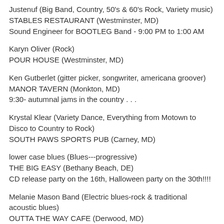Justenuf (Big Band, Country, 50's & 60's Rock, Variety music)
STABLES RESTAURANT (Westminster, MD)
Sound Engineer for BOOTLEG Band - 9:00 PM to 1:00 AM
Karyn Oliver (Rock)
POUR HOUSE (Westminster, MD)
Ken Gutberlet (gitter picker, songwriter, americana groover)
MANOR TAVERN (Monkton, MD)
9:30- autumnal jams in the country . . .
Krystal Klear (Variety Dance, Everything from Motown to Disco to Country to Rock)
SOUTH PAWS SPORTS PUB (Carney, MD)
lower case blues (Blues---progressive)
THE BIG EASY (Bethany Beach, DE)
CD release party on the 16th, Halloween party on the 30th!!!!
Melanie Mason Band (Electric blues-rock & traditional acoustic blues)
OUTTA THE WAY CAFE (Derwood, MD)
9:30 PM: Electric blues-rock guitarist Melanie Mason and her trio